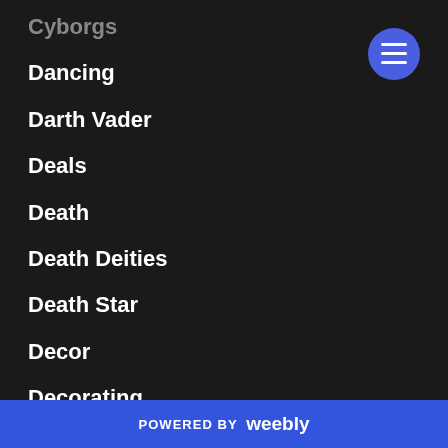Cyborgs
Dancing
Darth Vader
Deals
Death
Death Deities
Death Star
Decor
Decorating
Decorations
Defining
Deities
POWERED BY weebly